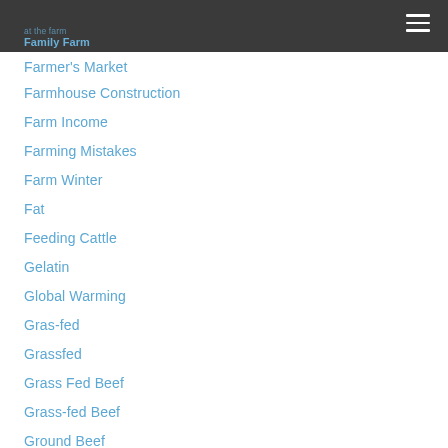Family Farm
Farmer's Market
Farmhouse Construction
Farm Income
Farming Mistakes
Farm Winter
Fat
Feeding Cattle
Gelatin
Global Warming
Gras-fed
Grassfed
Grass Fed Beef
Grass-fed Beef
Ground Beef
Gut Health
Hay
Hay Bales